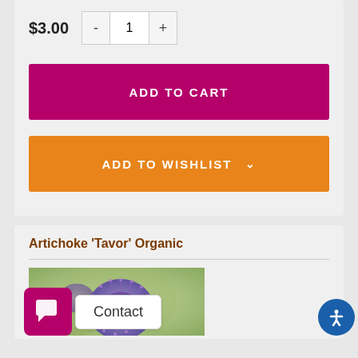$3.00
ADD TO CART
ADD TO WISHLIST
Artichoke 'Tavor' Organic
[Figure (photo): Purple artichoke flower close-up photograph]
Contact